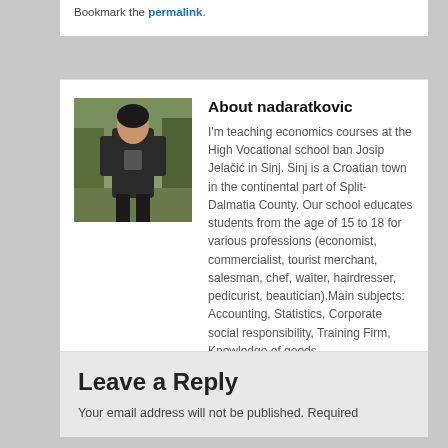Bookmark the permalink.
About nadaratkovic
[Figure (photo): Author photo of nadaratkovic, a person in dark clothing outdoors]
I'm teaching economics courses at the High Vocational school ban Josip Jelačić in Sinj. Sinj is a Croatian town in the continental part of Split-Dalmatia County. Our school educates students from the age of 15 to 18 for various professions (economist, commercialist, tourist merchant, salesman, chef, waiter, hairdresser, pedicurist, beautician).Main subjects: Accounting, Statistics, Corporate social responsibility, Training Firm, Knowledge of goods….
View all posts by nadaratkovic →
Leave a Reply
Your email address will not be published. Required